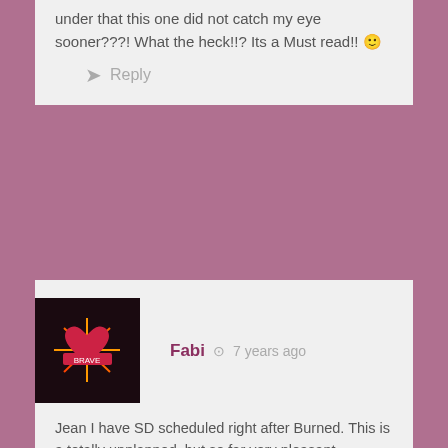under that this one did not catch my eye sooner???! What the heck!!? Its a Must read!! 🙂
Reply
Fabi · 7 years ago
Jean I have SD scheduled right after Burned. This is a totally unplanned, but so far very pleasant, sidetrack.
Too cool! Got me a buddy read. 🙂
ps. Check out the author's Twitter. He's so funny. I've been snickering and laughing with it since yesterday.
Is there anything better in life than a smile and a laugh?
(hush Amy….you know what I mean) ☺